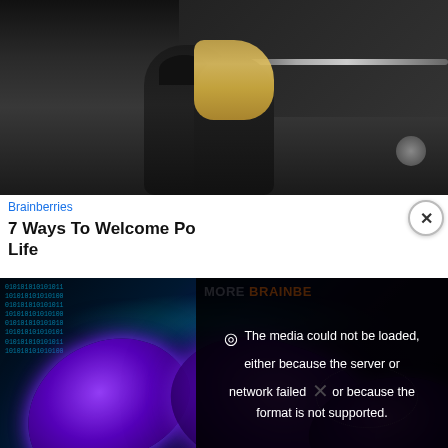[Figure (photo): Photo of a couple kissing near a boat or vehicle, dark background with metallic elements visible]
Brainberries
7 Ways To Welcome Po Life
[Figure (photo): Digital/tech image showing binary code on the left and glowing purple chromosome structures on a dark teal background]
The media could not be loaded, either because the server or network failed or because the format is not supported.